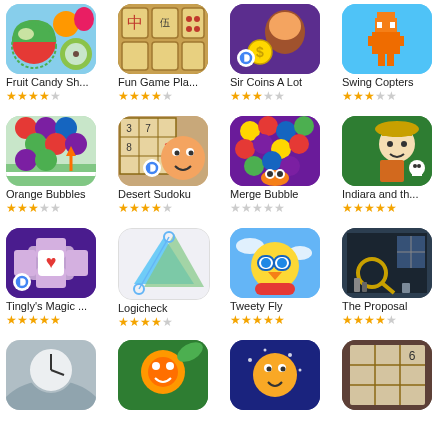[Figure (screenshot): App store grid showing 16 game app icons with names and star ratings]
Fruit Candy Sh... ★★★★☆
Fun Game Pla... ★★★★☆
Sir Coins A Lot ★★★☆☆
Swing Copters ★★★☆☆
Orange Bubbles ★★★☆☆
Desert Sudoku ★★★★☆
Merge Bubble ★☆☆☆☆
Indiara and th... ★★★★★
Tingly's Magic ... ★★★★★
Logicheck ★★★★☆
Tweety Fly ★★★★★
The Proposal ★★★★☆